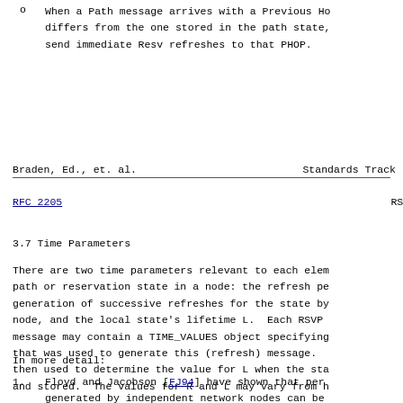o   When a Path message arrives with a Previous Ho differs from the one stored in the path state, send immediate Resv refreshes to that PHOP.
Braden, Ed., et. al.        Standards Track
RFC 2205                                    RSVP
3.7 Time Parameters
There are two time parameters relevant to each elem path or reservation state in a node: the refresh pe generation of successive refreshes for the state by node, and the local state's lifetime L.  Each RSVP message may contain a TIME_VALUES object specifying that was used to generate this (refresh) message. then used to determine the value for L when the sta and stored.  The values for R and L may vary from h
In more detail:
1.   Floyd and Jacobson [FJ94] have shown that per generated by independent network nodes can be